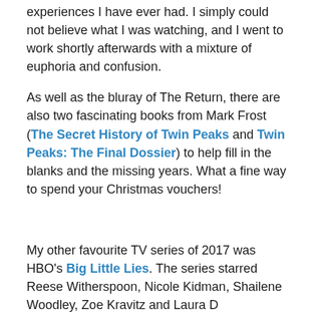experiences I have ever had. I simply could not believe what I was watching, and I went to work shortly afterwards with a mixture of euphoria and confusion.
As well as the bluray of The Return, there are also two fascinating books from Mark Frost (The Secret History of Twin Peaks and Twin Peaks: The Final Dossier) to help fill in the blanks and the missing years. What a fine way to spend your Christmas vouchers!
My other favourite TV series of 2017 was HBO's Big Little Lies. The series starred Reese Witherspoon, Nicole Kidman, Shailene Woodley, Zoe Kravitz and Laura Dern.